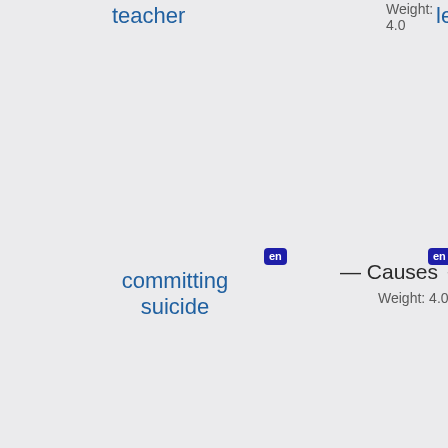[Figure (network-graph): Knowledge graph visualization showing nodes with language badges (en) connected by labeled directed edges. Nodes include 'teacher', 'committing suicide', 'towels', 'a reception'. Edges show relations: Causes (Weight: 4.0), AtLocation (Weight: 4.0), AtLocation (Weight: 4.0). Partial nodes 'learn', 'dy', 'a', 'ho' are cropped at edges.]